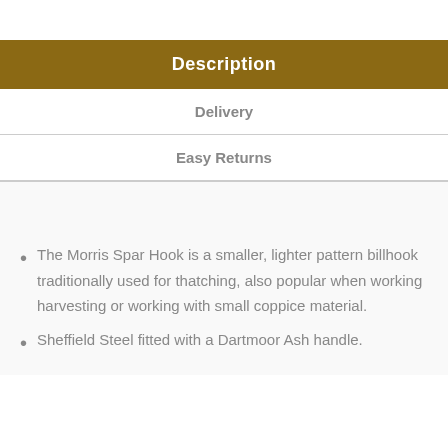Description
Delivery
Easy Returns
The Morris Spar Hook is a smaller, lighter pattern billhook traditionally used for thatching, also popular when working harvesting or working with small coppice material.
Sheffield Steel fitted with a Dartmoor Ash handle.